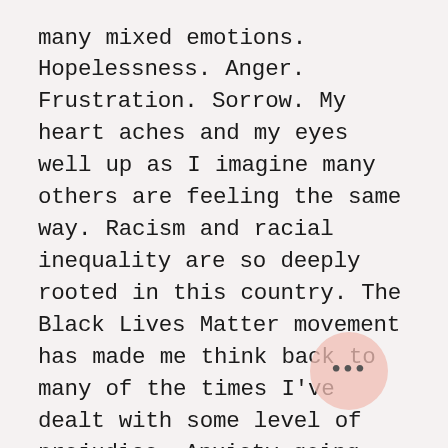many mixed emotions. Hopelessness. Anger. Frustration. Sorrow. My heart aches and my eyes well up as I imagine many others are feeling the same way. Racism and racial inequality are so deeply rooted in this country. The Black Lives Matter movement has made me think back to many of the times I've dealt with some level of prejudice. Anxiety going through airport security as a tan-skinned woman with an "ethnic" name, being fearful for my grandparents' lives when they went out because they didn't speak English, and so much more. I can recall and reflect on what it's like to be South Asian and Muslim in America, but this is not about that. This is not about immigration. This is not about religio... This current movement is about being